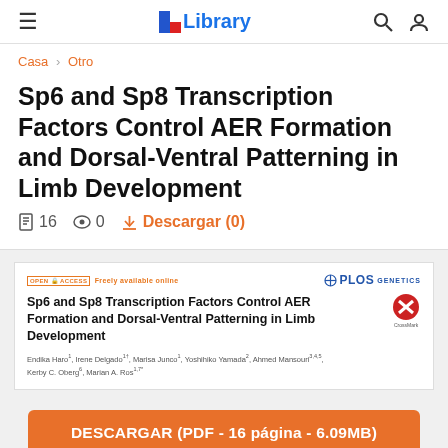≡  Library  🔍  👤
Casa > Otro
Sp6 and Sp8 Transcription Factors Control AER Formation and Dorsal-Ventral Patterning in Limb Development
📄 16  👁 0  ⬇ Descargar (0)
[Figure (screenshot): Preview of the PLOS Genetics journal article page showing title, authors (Endika Haro, Irene Delgado, Marisa Junco, Yoshihiko Yamada, Ahmed Mansouri, Kerby C. Oberg, Marian A. Ros) and OPEN ACCESS / CrossMark logos]
DESCARGAR (PDF - 16 página - 6.09MB)